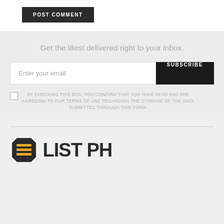POST COMMENT
Get the l8est delivered right to your inbox.
Enter your email
SUBSCRIBE
BY CHECKING THIS BOX, YOU CONFIRM THAT YOU HAVE READ AND ARE AGREEING TO OUR TERMS OF USE REGARDING THE STORAGE OF THE DATA SUBMITTED THROUGH THIS FORM.
[Figure (logo): 8LIST PH logo with a stylized bolt/plug icon in dark with yellow horizontal lines, followed by bold text '8LIST PH']